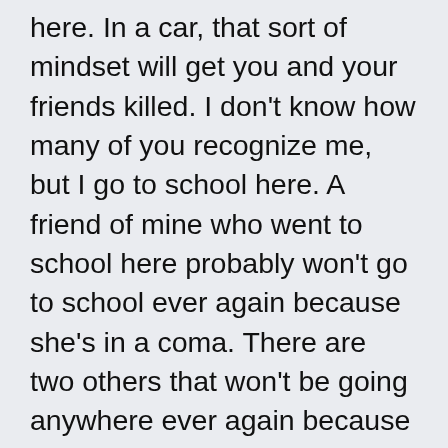here. In a car, that sort of mindset will get you and your friends killed. I don't know how many of you recognize me, but I go to school here. A friend of mine who went to school here probably won't go to school ever again because she's in a coma. There are two others that won't be going anywhere ever again because they're dead. We learned the hard way that you shouldn't drive when distracted." The gym was silent now, vaguely horrified expressions on each student's faces. The girl continued, “Did you know that 50% of teens killed in car crashes were driven by